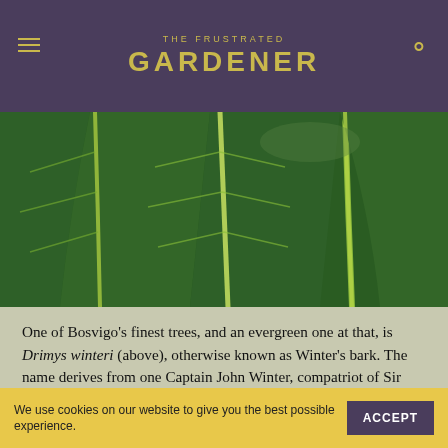THE FRUSTRATED GARDENER
[Figure (photo): Close-up photograph of large tropical or exotic leaves with prominent yellow-green veins on deep green leaf surface, filling the image frame]
One of Bosvigo's finest trees, and an evergreen one at that, is Drimys winteri (above), otherwise known as Winter's bark. The name derives from one Captain John Winter, compatriot of Sir Francis Drake, who discovered that the Chillean tree's bark was a useful source of vitamin C during a voyage around Cape Horn. Since its discovery in the 16th Century, Drimys winteri has been presented an Award of Garden Merit by the RHS and has found its way into the gardens of many discerning collectors. In the UK it makes a big, bushy tree with glossy, laurel-like leaves borne right down to the ground. Mature
We use cookies on our website to give you the best possible experience.